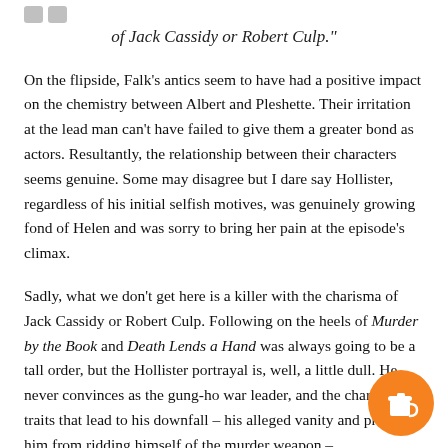"What we don't get here is a killer with the charisma of Jack Cassidy or Robert Culp."
On the flipside, Falk's antics seem to have had a positive impact on the chemistry between Albert and Pleshette. Their irritation at the lead man can't have failed to give them a greater bond as actors. Resultantly, the relationship between their characters seems genuine. Some may disagree but I dare say Hollister, regardless of his initial selfish motives, was genuinely growing fond of Helen and was sorry to bring her pain at the episode's climax.
Sadly, what we don't get here is a killer with the charisma of Jack Cassidy or Robert Culp. Following on the heels of Murder by the Book and Death Lends a Hand was always going to be a tall order, but the Hollister portrayal is, well, a little dull. He never convinces as the gung-ho war leader, and the character traits that lead to his downfall – his alleged vanity and – prevent him from ridding himself of the murder weapon –
[Figure (illustration): Orange circular coffee cup button/icon in the bottom right corner]